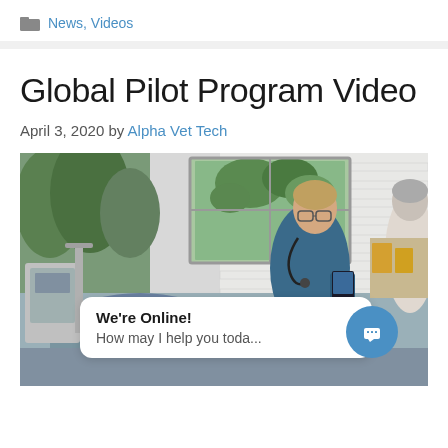News, Videos
Global Pilot Program Video
April 3, 2020 by Alpha Vet Tech
[Figure (photo): Veterinary clinic scene showing a vet tech in blue scrubs with stethoscope looking at a device, with another person in background and an animal on the examination table. A chat widget overlaid showing 'We're Online! How may I help you toda...']